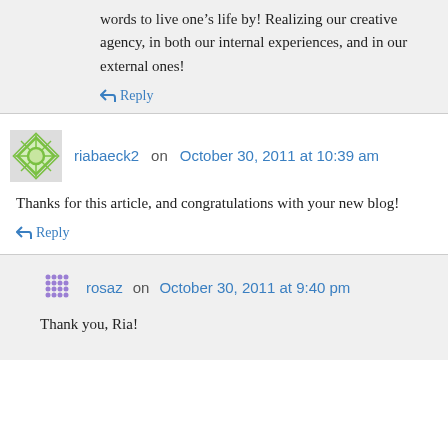words to live one's life by! Realizing our creative agency, in both our internal experiences, and in our external ones!
↳ Reply
riabaeck2 on October 30, 2011 at 10:39 am
Thanks for this article, and congratulations with your new blog!
↳ Reply
rosaz on October 30, 2011 at 9:40 pm
Thank you, Ria!